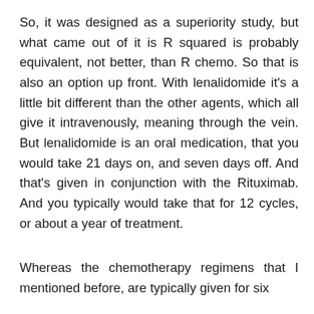So, it was designed as a superiority study, but what came out of it is R squared is probably equivalent, not better, than R chemo. So that is also an option up front. With lenalidomide it's a little bit different than the other agents, which all give it intravenously, meaning through the vein. But lenalidomide is an oral medication, that you would take 21 days on, and seven days off. And that's given in conjunction with the Rituximab. And you typically would take that for 12 cycles, or about a year of treatment.
Whereas the chemotherapy regimens that I mentioned before, are typically given for six